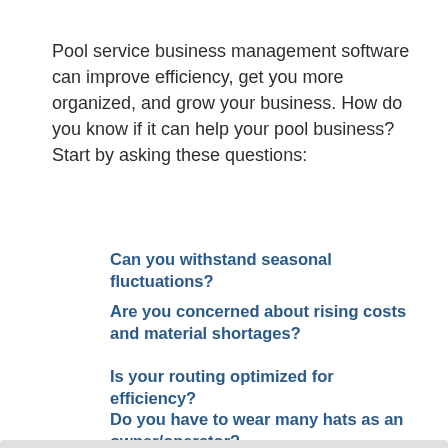Pool service business management software can improve efficiency, get you more organized, and grow your business. How do you know if it can help your pool business? Start by asking these questions:
Can you withstand seasonal fluctuations?
Are you concerned about rising costs and material shortages?
Is your routing optimized for efficiency?
Do you have to wear many hats as an owner/operator?